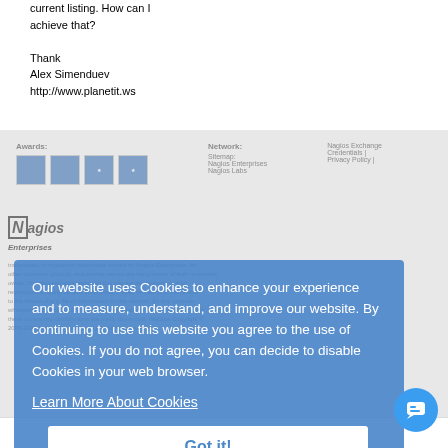I want to be the owner of current listing. How can I achieve that?
Thank
Alex Simenduev
http://www.planetit.ws
[Figure (screenshot): Cookie consent overlay on top of a Nagios Enterprises website footer. The overlay shows a cookie policy message with a 'Learn More About Cookies' link and a 'Got it!' button. Behind the overlay are partially visible footer sections with Awards and Network/Sitemap headings, and a Nagios Enterprises logo.]
Privacy Policy   Trademarks   Terms of Use